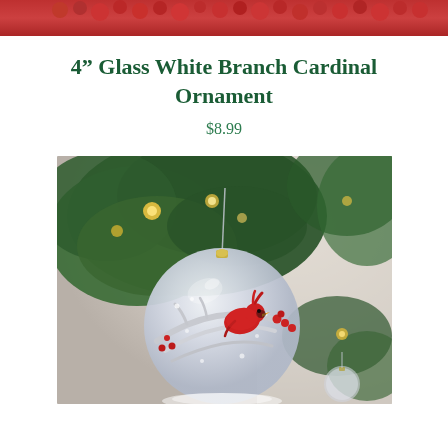[Figure (photo): Top cropped photo showing red berries or red holiday decoration on a white/light background]
4″ Glass White Branch Cardinal Ornament
$8.99
[Figure (photo): Photo of a glass ball ornament with a red cardinal bird on white branches with red berries, hanging on a green Christmas tree with warm bokeh lights]